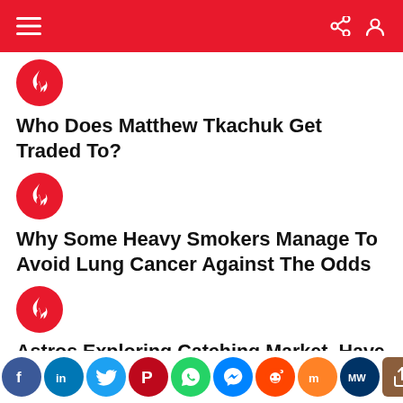Navigation header with menu, share and search icons
Who Does Matthew Tkachuk Get Traded To?
Why Some Heavy Smokers Manage To Avoid Lung Cancer Against The Odds
Astros Exploring Catching Market, Have Discussed Willson Contreras With Cubs
[Figure (infographic): Social share bar with icons for Facebook, LinkedIn, Twitter, Pinterest, WhatsApp, Messenger, Reddit, Mix, MW, and share button]